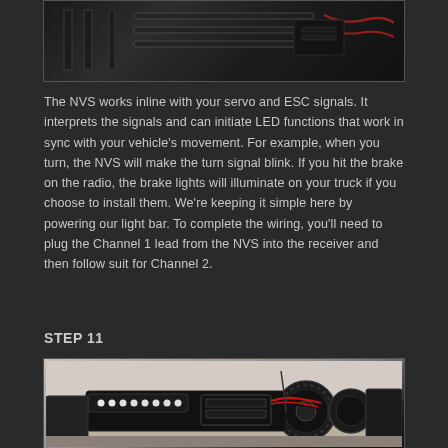[Figure (photo): Top portion of an RC truck/crawler showing metal roll cage, electronics and red wiring against dark background]
The NVS works inline with your servo and ESC signals. It interprets the signals and can initiate LED functions that work in sync with your vehicle's movement. For example, when you turn, the NVS will make the turn signal blink. If you hit the brake on the radio, the brake lights will illuminate on your truck if you choose to install them. We're keeping it simple here by powering our light bar. To complete the wiring, you'll need to plug the Channel 1 lead from the NVS into the receiver and then follow suit for Channel 2.
STEP 11
[Figure (photo): RC crawler truck viewed from above/side showing light bar with white LEDs, electronic speed controller, red and black wiring, large off-road tires, and various electronic components against light background]